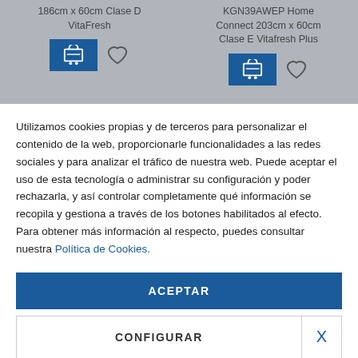186cm x 60cm Clase D VitaFresh
KGN39AWEP Home Connect 203cm x 60cm Clase E Vitafresh Plus
Utilizamos cookies propias y de terceros para personalizar el contenido de la web, proporcionarle funcionalidades a las redes sociales y para analizar el tráfico de nuestra web. Puede aceptar el uso de esta tecnología o administrar su configuración y poder rechazarla, y así controlar completamente qué información se recopila y gestiona a través de los botones habilitados al efecto. Para obtener más información al respecto, puedes consultar nuestra Política de Cookies.
ACEPTAR
CONFIGURAR